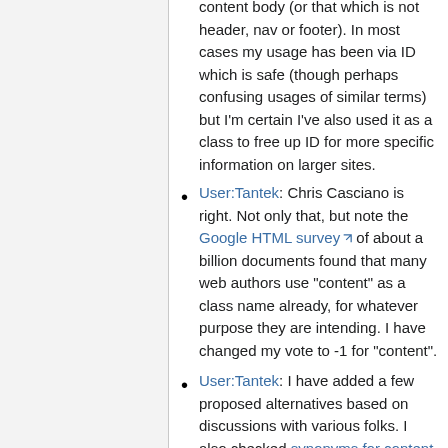content body (or that which is not header, nav or footer). In most cases my usage has been via ID which is safe (though perhaps confusing usages of similar terms) but I'm certain I've also used it as a class to free up ID for more specific information on larger sites.
User:Tantek: Chris Casciano is right. Not only that, but note the Google HTML survey of about a billion documents found that many web authors use "content" as a class name already, for whatever purpose they are intending. I have changed my vote to -1 for "content".
User:Tantek: I have added a few proposed alternatives based on discussions with various folks. I also checked synonyms for content but didn't find anything worth proposing.